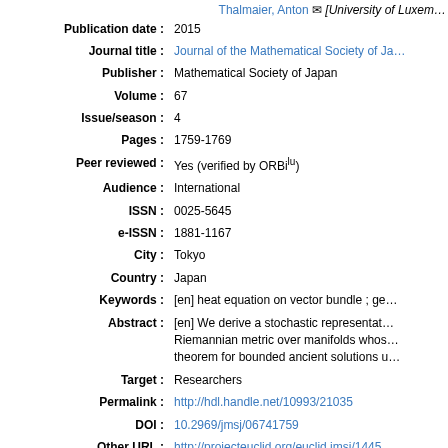Thalmaier, Anton [University of Luxem…
| Publication date : | 2015 |
| Journal title : | Journal of the Mathematical Society of Ja… |
| Publisher : | Mathematical Society of Japan |
| Volume : | 67 |
| Issue/season : | 4 |
| Pages : | 1759-1769 |
| Peer reviewed : | Yes (verified by ORBilu) |
| Audience : | International |
| ISSN : | 0025-5645 |
| e-ISSN : | 1881-1167 |
| City : | Tokyo |
| Country : | Japan |
| Keywords : | [en] heat equation on vector bundle ; ge… |
| Abstract : | [en] We derive a stochastic representat… Riemannian metric over manifolds whos… theorem for bounded ancient solutions u… |
| Target : | Researchers |
| Permalink : | http://hdl.handle.net/10993/21035 |
| DOI : | 10.2969/jmsj/06741759 |
| Other URL : | http://projecteuclid.org/euclid.jmsj/1445… |
| FnR project : | FnR ; FNR7628746 > Anton Thalmaier > |
File(s) associated to this reference